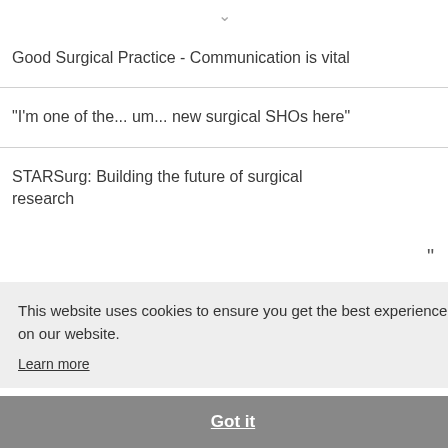Good Surgical Practice - Communication is vital
"I'm one of the... um... new surgical SHOs here"
STARSurg: Building the future of surgical research
This website uses cookies to ensure you get the best experience on our website.
Learn more
Got it